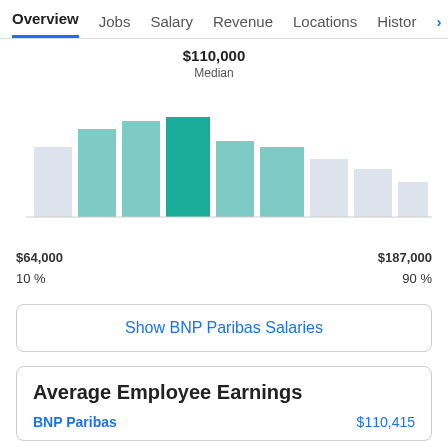Overview  Jobs  Salary  Revenue  Locations  Histor >
[Figure (histogram): $110,000 Median]
$64,000
10 %
$187,000
90 %
Show BNP Paribas Salaries
Average Employee Earnings
BNP Paribas   $110,415